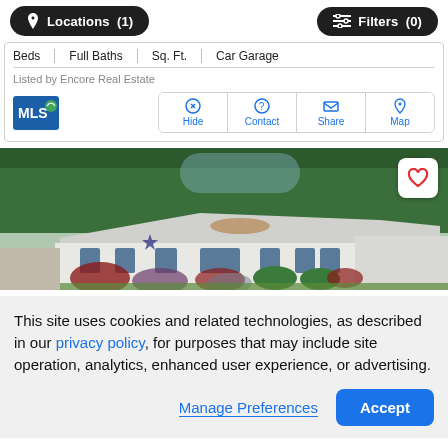[Figure (screenshot): Top navigation bar with Locations (1) and Filters (0) buttons]
| Beds | Full Baths | Sq. Ft. | Car Garage |
| --- | --- | --- | --- |
Listed by Encore Real Estate
[Figure (screenshot): MLS logo and action buttons: Hide, Contact, Share, Map]
[Figure (photo): Exterior photo of a single-story white ranch house with lush green trees behind it and a heart/favorite button overlay]
This site uses cookies and related technologies, as described in our privacy policy, for purposes that may include site operation, analytics, enhanced user experience, or advertising.
Manage Preferences  Accept